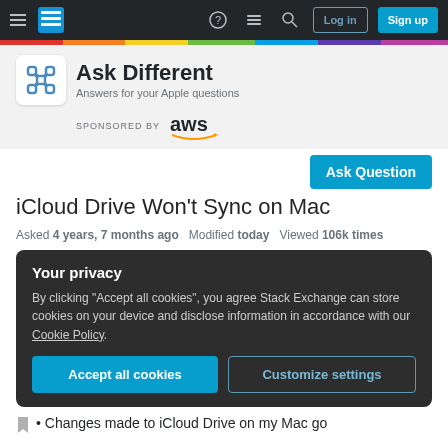Ask Different - Stack Exchange navigation bar with Log in and Sign up buttons
[Figure (logo): Ask Different logo with command key symbol and site name, sponsored by AWS]
Ask Question
iCloud Drive Won't Sync on Mac
Asked 4 years, 7 months ago  Modified today  Viewed 106k times
Your privacy
By clicking "Accept all cookies", you agree Stack Exchange can store cookies on your device and disclose information in accordance with our Cookie Policy.
Accept all cookies  Customize settings
Changes made to iCloud Drive on my Mac go